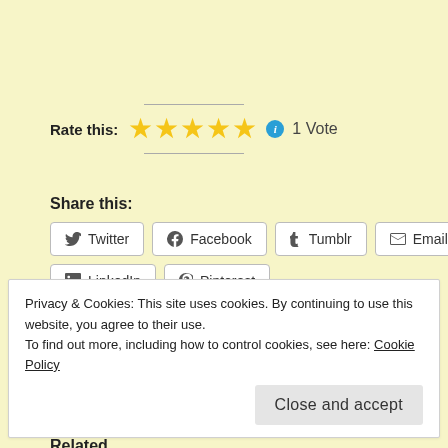Rate this: ★★★★★ ℹ 1 Vote
Share this:
Twitter
Facebook
Tumblr
Email
LinkedIn
Pinterest
Loading...
Related
Privacy & Cookies: This site uses cookies. By continuing to use this website, you agree to their use.
To find out more, including how to control cookies, see here: Cookie Policy
Close and accept